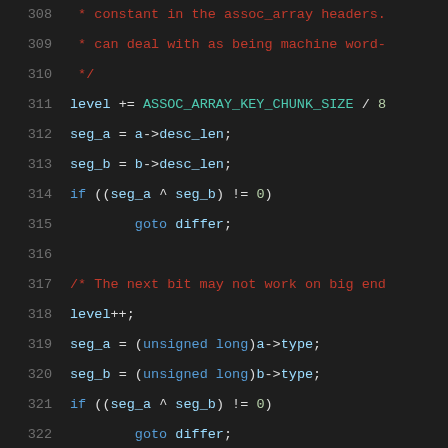[Figure (screenshot): Source code viewer showing C code lines 308-329 with syntax highlighting on dark background. Line numbers in gray on left, code content with colored keywords, identifiers, and comments.]